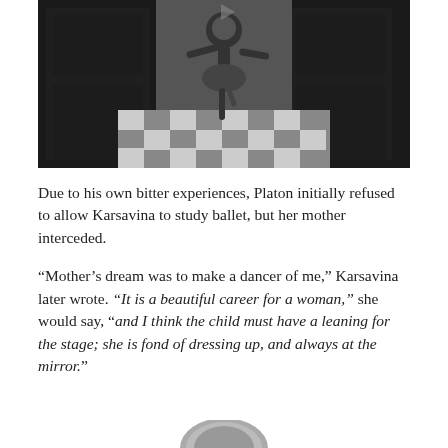[Figure (photo): Black and white photograph of a dancer performing on a checkered floor, with dark ornate backdrop panels. The figure is captured mid-movement.]
Due to his own bitter experiences, Platon initially refused to allow Karsavina to study ballet, but her mother interceded.
“Mother’s dream was to make a dancer of me,” Karsavina later wrote. “It is a beautiful career for a woman,” she would say, “and I think the child must have a leaning for the stage; she is fond of dressing up, and always at the mirror.”
[Figure (photo): Partial circular photograph visible at the bottom of the page.]